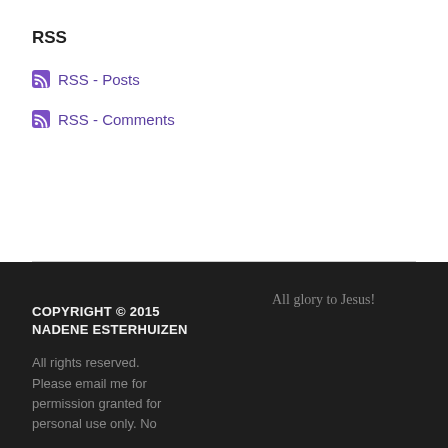RSS
RSS - Posts
RSS - Comments
COPYRIGHT © 2015 NADENE ESTERHUIZEN

All rights reserved. Please email me for permission granted for personal use only. No
All glory to Jesus!